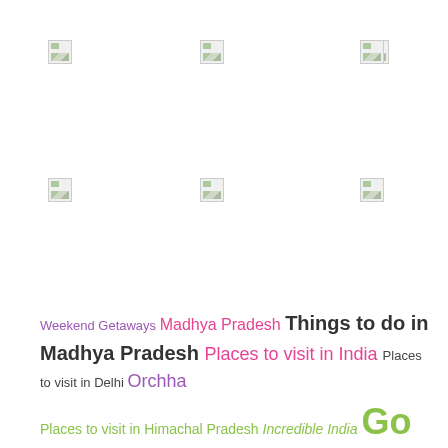[Figure (other): Six broken/unloaded image placeholders arranged in two rows of three]
Weekend Getaways Madhya Pradesh Things to do in Madhya Pradesh Places to visit in India Places to visit in Delhi Orchha Places to visit in Himachal Pradesh Incredible India Go Banjare Places to Visit in Orchha Festivals of India Things to do in